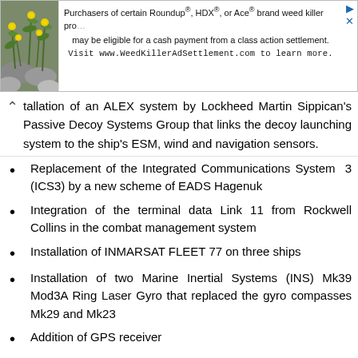[Figure (other): Advertisement banner with plant photo on left and text about Roundup/HDX/Ace brand weed killer class action settlement on right]
tallation of an ALEX system by Lockheed Martin Sippican's Passive Decoy Systems Group that links the decoy launching system to the ship's ESM, wind and navigation sensors.
Replacement of the Integrated Communications System 3 (ICS3) by a new scheme of EADS Hagenuk
Integration of the terminal data Link 11 from Rockwell Collins in the combat management system
Installation of INMARSAT FLEET 77 on three ships
Installation of two Marine Inertial Systems (INS) Mk39 Mod3A Ring Laser Gyro that replaced the gyro compasses Mk29 and Mk23
Addition of GPS receiver